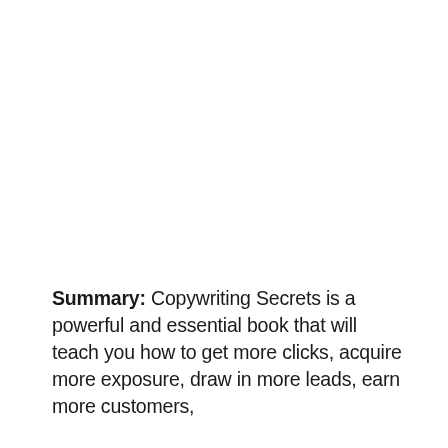Summary: Copywriting Secrets is a powerful and essential book that will teach you how to get more clicks, acquire more exposure, draw in more leads, earn more customers,